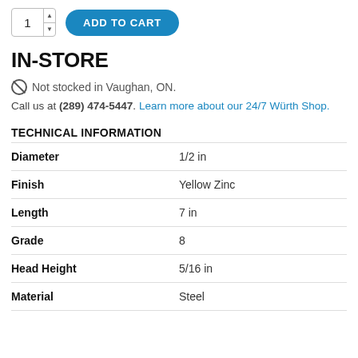[Figure (screenshot): Quantity input box showing '1' with up/down arrows, and a blue 'ADD TO CART' rounded button]
IN-STORE
Not stocked in Vaughan, ON.
Call us at (289) 474-5447. Learn more about our 24/7 Würth Shop.
TECHNICAL INFORMATION
| Property | Value |
| --- | --- |
| Diameter | 1/2 in |
| Finish | Yellow Zinc |
| Length | 7 in |
| Grade | 8 |
| Head Height | 5/16 in |
| Material | Steel |